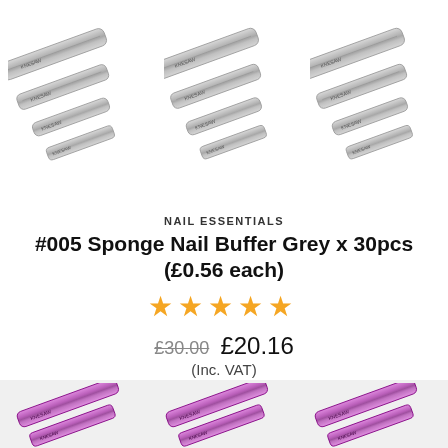[Figure (photo): Three groups of grey sponge nail buffer bars arranged diagonally, shown from above on white background]
NAIL ESSENTIALS
#005 Sponge Nail Buffer Grey x 30pcs (£0.56 each)
[Figure (other): Five orange/gold star rating icons]
£30.00  £20.16
(Inc. VAT)
SHOP NOW
[Figure (photo): Three groups of purple/pink sponge nail buffer bars partially visible at bottom of page]